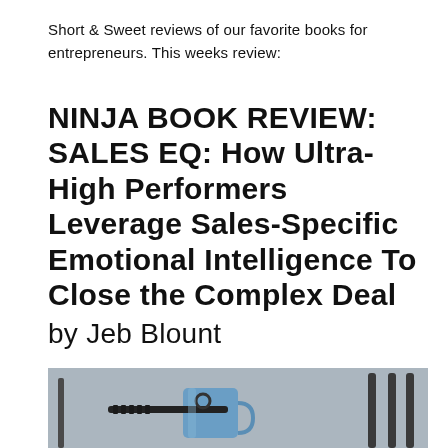Short & Sweet reviews of our favorite books for entrepreneurs. This weeks review:
NINJA BOOK REVIEW: SALES EQ: How Ultra-High Performers Leverage Sales-Specific Emotional Intelligence To Close the Complex Deal
by Jeb Blount
[Figure (photo): Photo of a coffee mug and what appears to be a sword hilt or similar object on a table, with blurred background of chairs or furniture]